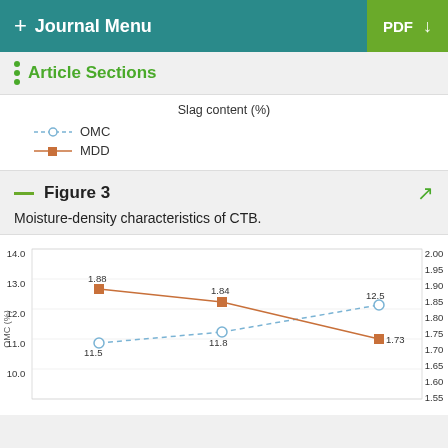+ Journal Menu | PDF
Article Sections
[Figure (line-chart): Slag content (%)]
Figure 3
Moisture-density characteristics of CTB.